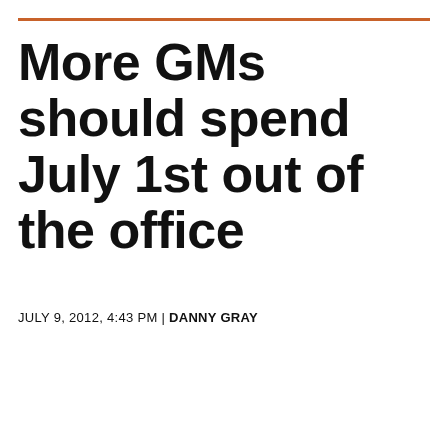More GMs should spend July 1st out of the office
JULY 9, 2012, 4:43 PM | DANNY GRAY